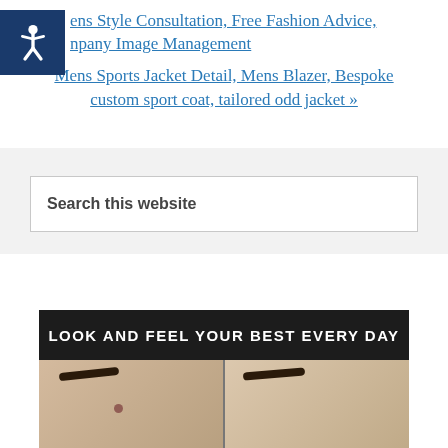[Figure (logo): Blue accessibility wheelchair icon on dark navy square background]
ens Style Consultation, Free Fashion Advice, npany Image Management
Mens Sports Jacket Detail, Mens Blazer, Bespoke custom sport coat, tailored odd jacket »
Search this website
[Figure (photo): Banner image with text 'LOOK AND FEEL YOUR BEST EVERY DAY' in white bold letters on dark background, below which are two side-by-side close-up photos of a man's face (before and after skin treatment)]